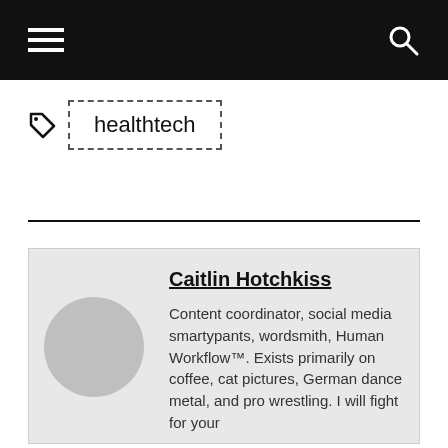healthtech
Caitlin Hotchkiss
Content coordinator, social media smartypants, wordsmith, Human Workflow™. Exists primarily on coffee, cat pictures, German dance metal, and pro wrestling. I will fight for your right to the Oxford…